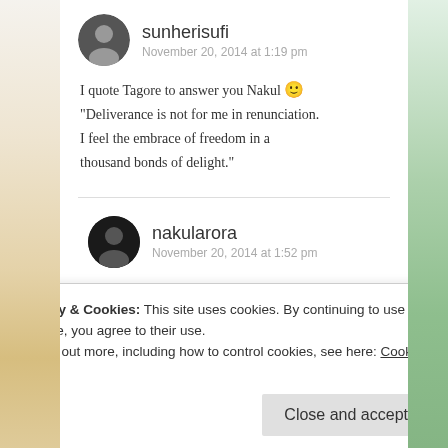sunherisufi
November 20, 2014 at 1:19 pm
I quote Tagore to answer you Nakul 🙂 "Deliverance is not for me in renunciation. I feel the embrace of freedom in a thousand bonds of delight."
nakularora
November 20, 2014 at 1:52 pm
Privacy & Cookies: This site uses cookies. By continuing to use this website, you agree to their use.
To find out more, including how to control cookies, see here: Cookie Policy
Close and accept